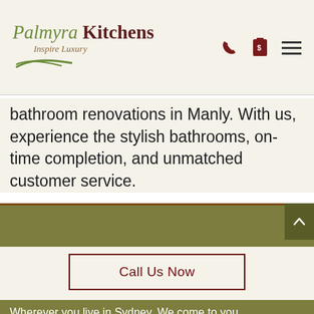[Figure (logo): Palmyra Kitchens Inspire Luxury logo with green swoosh and dark red text]
bathroom renovations in Manly. With us, experience the stylish bathrooms, on-time completion, and unmatched customer service.
Call Us Now
FREE MEASURE AND QUOTE
Wherever you live in Sydney, We come to you.
Affordable price without compromising quality
Instant & friendly quote service
Wide range of materials to choose from